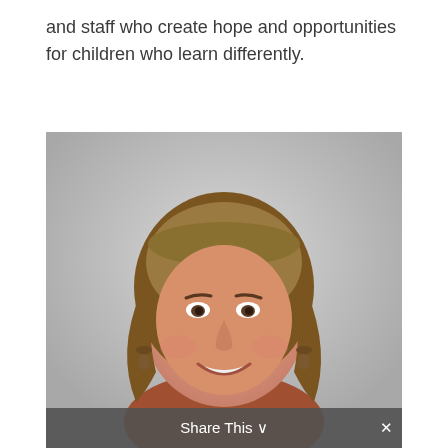and staff who create hope and opportunities for children who learn differently.
[Figure (photo): Portrait photo of a middle-aged woman with shoulder-length brown/blonde hair and bangs, smiling, wearing brown top and dangling earrings, against a grey background. A 'Share This' toolbar appears at the bottom.]